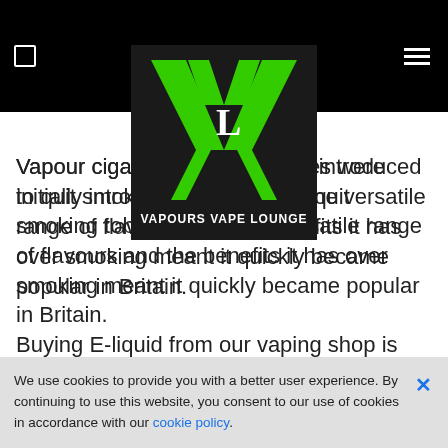[Figure (logo): Vapours Vape Lounge logo — green stylized V-X letters with 'L' in center and text 'VAPOURS VAPE LOUNGE' below, on black background]
Vapour cigarettes were initially introduced to quit smoking tobacco. Still, the versatile range of flavours and the benefits it has over smoking meant it quickly became popular in Britain.
Buying E-liquid from our vaping shop is more cost-effective than tobacco in the
We use cookies to provide you with a better user experience. By continuing to use this website, you consent to our use of cookies in accordance with our cookie policy.